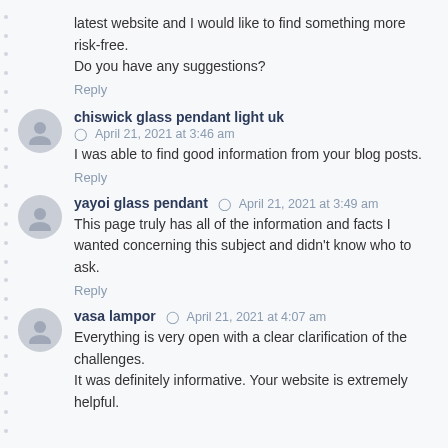latest website and I would like to find something more risk-free. Do you have any suggestions? Reply
chiswick glass pendant light uk | April 21, 2021 at 3:46 am | I was able to find good information from your blog posts. Reply
yayoi glass pendant | April 21, 2021 at 3:49 am | This page truly has all of the information and facts I wanted concerning this subject and didn't know who to ask. Reply
vasa lampor | April 21, 2021 at 4:07 am | Everything is very open with a clear clarification of the challenges. It was definitely informative. Your website is extremely helpful.